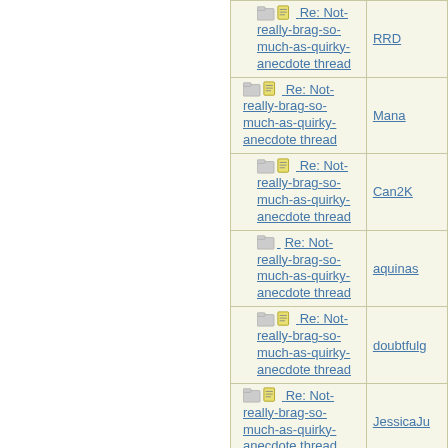| Topic | Author |
| --- | --- |
| Re: Not-really-brag-so-much-as-quirky-anecdote thread | RRD |
| Re: Not-really-brag-so-much-as-quirky-anecdote thread | Mana |
| Re: Not-really-brag-so-much-as-quirky-anecdote thread | Can2K |
| Re: Not-really-brag-so-much-as-quirky-anecdote thread | aquinas |
| Re: Not-really-brag-so-much-as-quirky-anecdote thread | doubtfulg |
| Re: Not-really-brag-so-much-as-quirky-anecdote thread | JessicaJu |
| Re: Not-... |  |